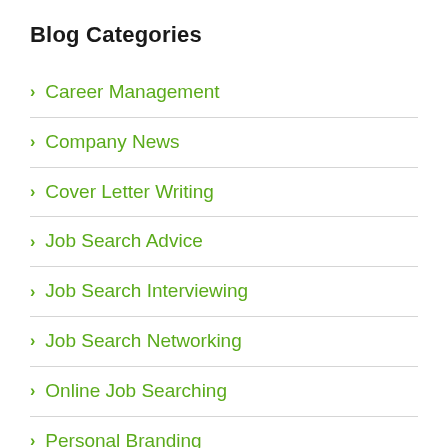Blog Categories
Career Management
Company News
Cover Letter Writing
Job Search Advice
Job Search Interviewing
Job Search Networking
Online Job Searching
Personal Branding